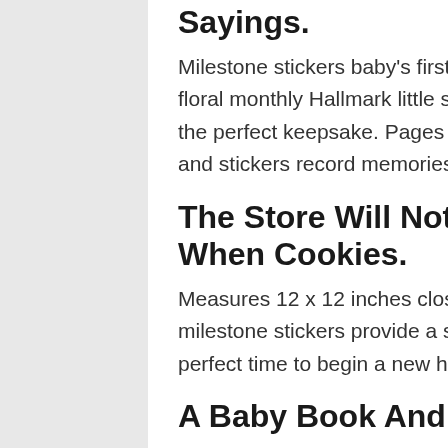Sayings.
Milestone stickers baby's first year, baby belly stickers, month stickers girl, floral monthly Hallmark little snoopy baby's first year sticker calendar makes the perfect keepsake. Pages feature pockets to hold photos and mementos and stickers record memories.
The Store Will Not Work Correctly In The Case When Cookies.
Measures 12 x 12 inches closed, 12 x 24 inches opened. Over 350 baby milestone stickers provide a special way to remember baby's. This is a perfect time to begin a new holiday tradition.
A Baby Book And Sticker Calendar;
Store mementos inside convenient pockets and